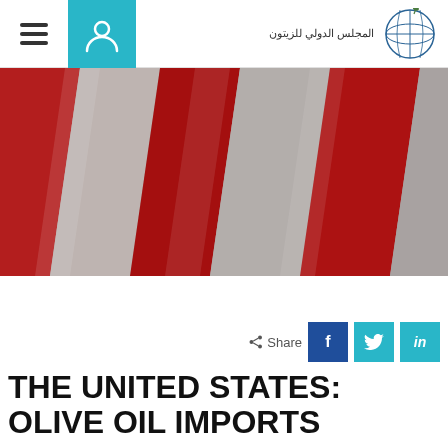المجلس الدولي للزيتون
[Figure (photo): Close-up photograph of red and white diagonal stripes of an American flag, filling the full width of the page.]
Share
THE UNITED STATES: OLIVE OIL IMPORTS